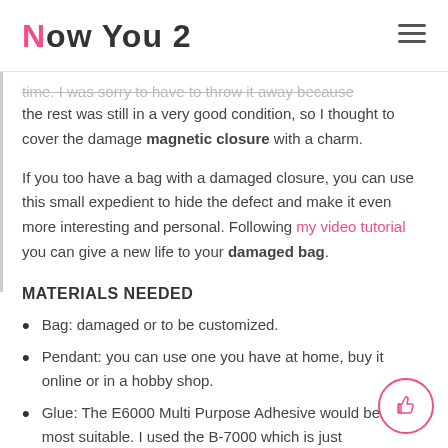Now You 2
time. I was sorry to have to throw it away because the rest was still in a very good condition, so I thought to cover the damage magnetic closure with a charm.
If you too have a bag with a damaged closure, you can use this small expedient to hide the defect and make it even more interesting and personal. Following my video tutorial you can give a new life to your damaged bag.
MATERIALS NEEDED
Bag: damaged or to be customized.
Pendant: you can use one you have at home, buy it online or in a hobby shop.
Glue: The E6000 Multi Purpose Adhesive would be the most suitable. I used the B-7000 which is just